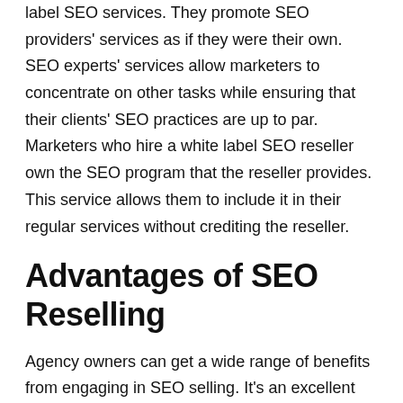label SEO services. They promote SEO providers' services as if they were their own. SEO experts' services allow marketers to concentrate on other tasks while ensuring that their clients' SEO practices are up to par. Marketers who hire a white label SEO reseller own the SEO program that the reseller provides. This service allows them to include it in their regular services without crediting the reseller.
Advantages of SEO Reselling
Agency owners can get a wide range of benefits from engaging in SEO selling. It's an excellent approach for agency owners to increase income while expanding their business. As an SEO reseller, you'll gain access to many advantages. Some of these are worth discussing.
Search Result Visibility: Most internet visitors will only click one of the first five results in the search engine. This